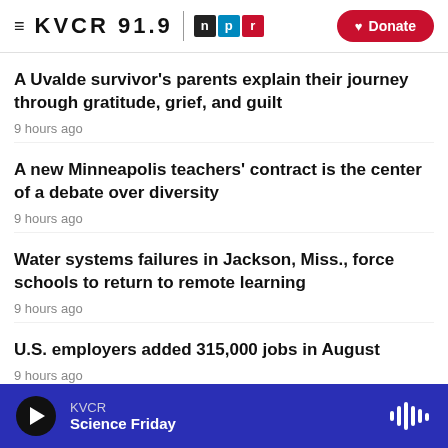KVCR 91.9 NPR | Donate
A Uvalde survivor's parents explain their journey through gratitude, grief, and guilt
9 hours ago
A new Minneapolis teachers' contract is the center of a debate over diversity
9 hours ago
Water systems failures in Jackson, Miss., force schools to return to remote learning
9 hours ago
U.S. employers added 315,000 jobs in August
9 hours ago
KVCR | Science Friday